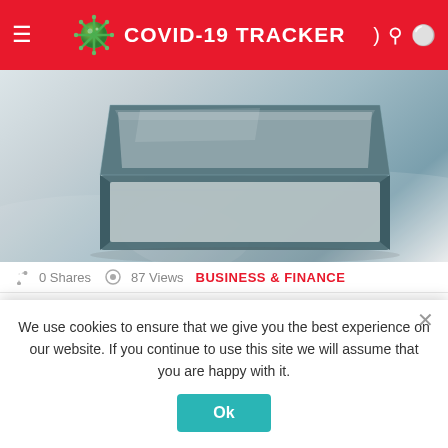COVID-19 TRACKER
[Figure (photo): Clamshell rigid box with metallic dark green lid opened, showing white interior tray, product photography on white background with subtle shadow]
0 Shares   87 Views   BUSINESS & FINANCE
How Clamshell Rigid Boxes Helps in Increasing Brand Reputation
[Figure (photo): Partially visible unboxing photo showing kraft cardboard box with teal/mint polka dot tissue paper interior]
We use cookies to ensure that we give you the best experience on our website. If you continue to use this site we will assume that you are happy with it.